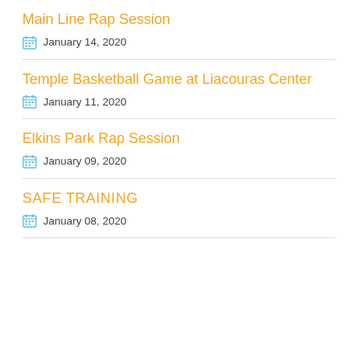Main Line Rap Session
January 14, 2020
Temple Basketball Game at Liacouras Center
January 11, 2020
Elkins Park Rap Session
January 09, 2020
SAFE TRAINING
January 08, 2020